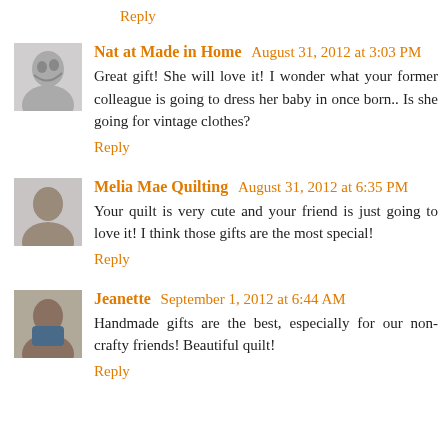Reply
Nat at Made in Home  August 31, 2012 at 3:03 PM
Great gift! She will love it! I wonder what your former colleague is going to dress her baby in once born.. Is she going for vintage clothes?
Reply
Melia Mae Quilting  August 31, 2012 at 6:35 PM
Your quilt is very cute and your friend is just going to love it! I think those gifts are the most special!
Reply
Jeanette  September 1, 2012 at 6:44 AM
Handmade gifts are the best, especially for our non-crafty friends! Beautiful quilt!
Reply